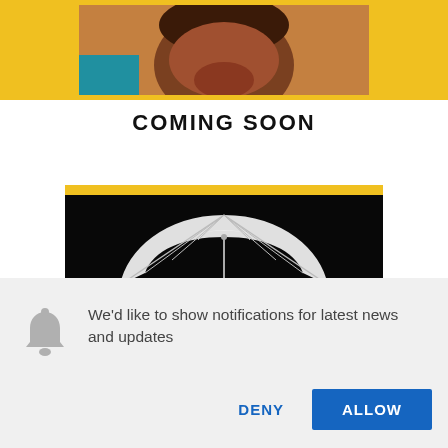[Figure (photo): Partial cropped face photo on a yellow background, showing the lower part of a face]
COMING SOON
[Figure (photo): A white open umbrella held by a hand against a dark/black background, with a yellow bar at the top of the image block]
We'd like to show notifications for latest news and updates
DENY
ALLOW